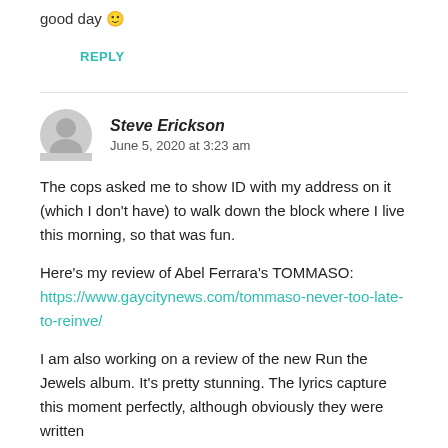good day 🙂
REPLY
Steve Erickson
June 5, 2020 at 3:23 am
The cops asked me to show ID with my address on it (which I don't have) to walk down the block where I live this morning, so that was fun.
Here's my review of Abel Ferrara's TOMMASO: https://www.gaycitynews.com/tommaso-never-too-late-to-reinve/
I am also working on a review of the new Run the Jewels album. It's pretty stunning. The lyrics capture this moment perfectly, although obviously they were written